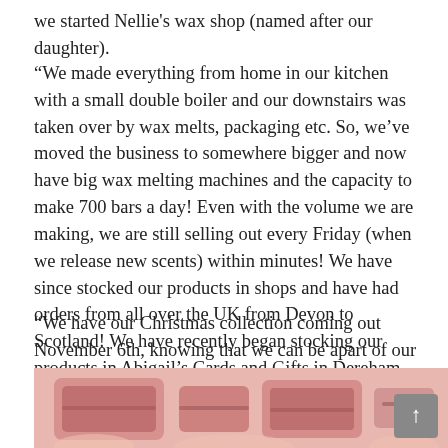we started Nellie's wax shop (named after our daughter).
“We made everything from home in our kitchen with a small double boiler and our downstairs was taken over by wax melts, packaging etc. So, we’ve moved the business to somewhere bigger and now have big wax melting machines and the capacity to make 700 bars a day! Even with the volume we are making, we are still selling out every Friday (when we release new scents) within minutes! We have since stocked our products in shops and have had orders from all over the UK from Devon to Scotland! We have recently began stocking our products in Abigail’s Cards and Gifts in Dereham – it’s a really beautiful shop and a real hidden gem.
“We have our Christmas collection coming out November 6th, knowing that we can be apart of our customers Christmas holidays after all life has thrown at everyone this year, is something really heart warming!”
[Figure (photo): Close-up photo of pink/red wax melt bars or wax snap bars, product shot for Nellie's wax shop]